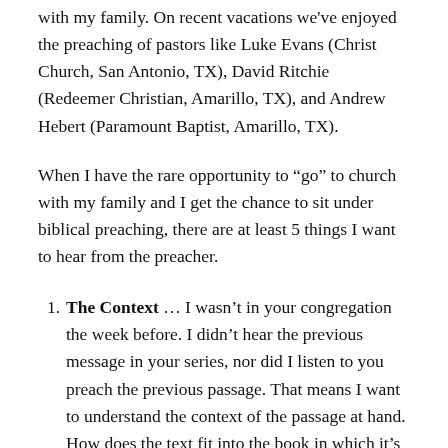with my family. On recent vacations we've enjoyed the preaching of pastors like Luke Evans (Christ Church, San Antonio, TX), David Ritchie (Redeemer Christian, Amarillo, TX), and Andrew Hebert (Paramount Baptist, Amarillo, TX).
When I have the rare opportunity to “go” to church with my family and I get the chance to sit under biblical preaching, there are at least 5 things I want to hear from the preacher.
The Context … I wasn’t in your congregation the week before. I didn’t hear the previous message in your series, nor did I listen to you preach the previous passage. That means I want to understand the context of the passage at hand. How does the text fit into the book in which it’s located? How does the passage fit into the broader story line of scripture? Help me see the